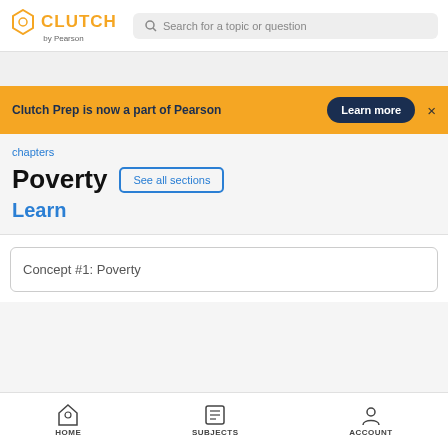CLUTCH by Pearson — Search for a topic or question
Clutch Prep is now a part of Pearson  Learn more  ×
chapters
Poverty  See all sections
Learn
Concept #1: Poverty
HOME  SUBJECTS  ACCOUNT